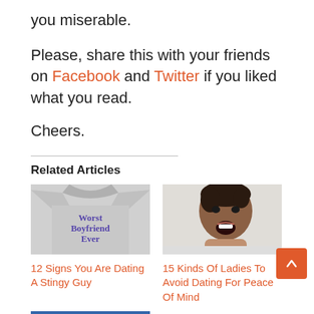you miserable.
Please, share this with your friends on Facebook and Twitter if you liked what you read.
Cheers.
Related Articles
[Figure (photo): A grey t-shirt with text 'Worst Boyfriend Ever' in purple lettering]
12 Signs You Are Dating A Stingy Guy
[Figure (photo): A woman with an angry/shouting expression, close-up portrait]
15 Kinds Of Ladies To Avoid Dating For Peace Of Mind
[Figure (screenshot): Partial screenshot of a webpage at the bottom of the page]